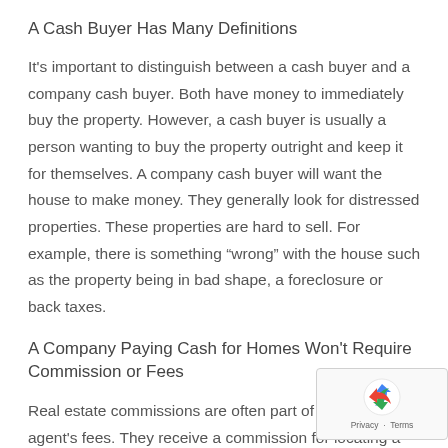A Cash Buyer Has Many Definitions
It's important to distinguish between a cash buyer and a company cash buyer. Both have money to immediately buy the property. However, a cash buyer is usually a person wanting to buy the property outright and keep it for themselves. A company cash buyer will want the house to make money. They generally look for distressed properties. These properties are hard to sell. For example, there is something “wrong” with the house such as the property being in bad shape, a foreclosure or back taxes.
A Company Paying Cash for Homes Won't Require Commission or Fees
Real estate commissions are often part of a real estate agent's fees. They receive a commission for locating a